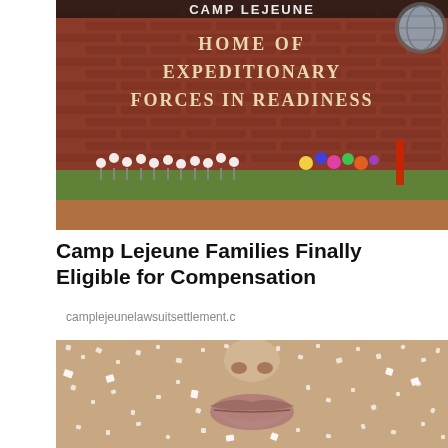[Figure (photo): Photo of Camp Lejeune brick sign reading 'HOME OF EXPEDITIONARY FORCES IN READINESS' with flowers and wreaths placed at the base, green shrubs, and colorful floral arrangements visible on the right side]
Camp Lejeune Families Finally Eligible for Compensation
camplejeunelawsuitsettlement.c
[Figure (photo): Close-up photo of a person's face covered in coarse salt or sugar crystals, showing primarily the nose, lips, and lower face area]